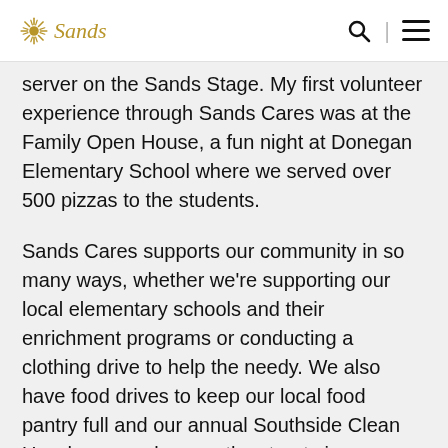Sands
server on the Sands Stage.  My first volunteer experience through Sands Cares was at the Family Open House, a fun night at Donegan Elementary School where we served over 500 pizzas to the students.
Sands Cares supports our community in so many ways, whether we're supporting our local elementary schools and their enrichment programs or conducting a clothing drive to help the needy.  We also have food drives to keep our local food pantry full and our annual Southside Clean Up where we clean up the streets in our neighborhood to ensure it is clean and safe for everyone in the community.  It's events like these that make it so important to lend our time through Sands Cares volunteer events